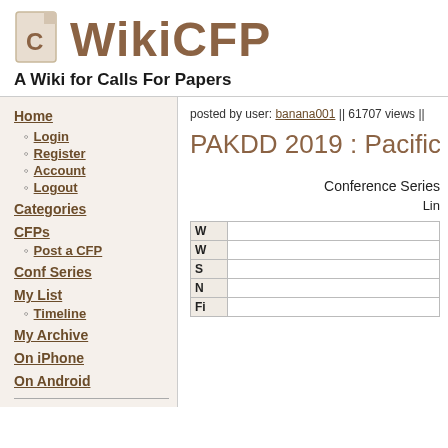WikiCFP
A Wiki for Calls For Papers
Home
Login
Register
Account
Logout
Categories
CFPs
Post a CFP
Conf Series
My List
Timeline
My Archive
On iPhone
On Android
posted by user: banana001 || 61707 views ||
PAKDD 2019 : Pacific-A
Conference Series
Lin
| W | W | S | N | Fi |
| --- | --- | --- | --- | --- |